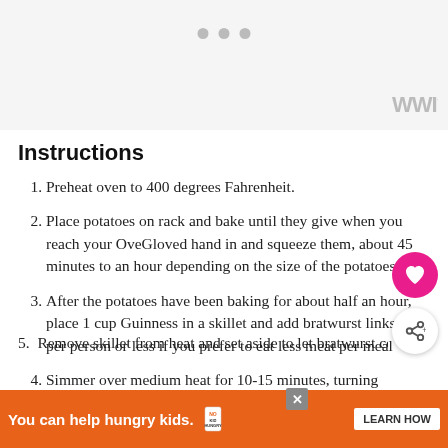[Figure (other): Gray placeholder image area with three gray dots (carousel indicator) and a watermark logo in bottom-right corner]
Instructions
Preheat oven to 400 degrees Fahrenheit.
Place potatoes on rack and bake until they give when you reach your OveGloved hand in and squeeze them, about 45 minutes to an hour depending on the size of the potatoes.
After the potatoes have been baking for about half an hour, place 1 cup Guinness in a skillet and add bratwurst links (1 per person or less if you prefer to eat less meat per meal
Simmer over medium heat for 10-15 minutes, turning occasionally, until fully cooked.
5. (partially visible — cut off)
[Figure (other): Orange advertisement banner: 'You can help hungry kids.' with No Kid Hungry logo and LEARN HOW button]